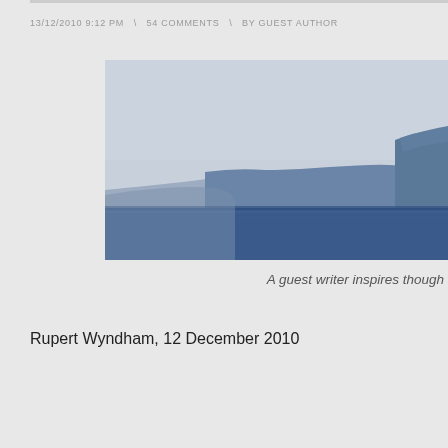13/12/2010 9:12 PM  \  54 COMMENTS  \  BY GUEST AUTHOR
[Figure (photo): Coastal landscape photograph showing blue-grey cliffs and headland rising from a calm blue sea, with a hazy sky background. The cliffs have a stepped profile with flat-topped sections.]
A guest writer inspires though
Rupert Wyndham, 12 December 2010